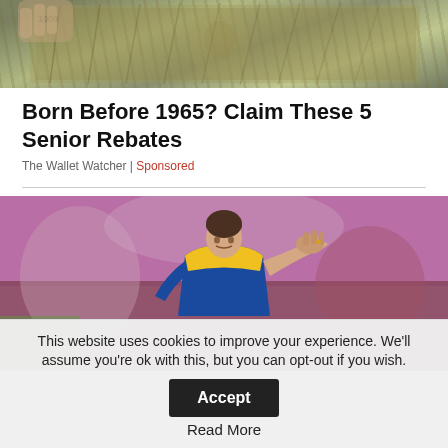[Figure (photo): A hand holding a large stack of US $100 bills, fanned out.]
Born Before 1965? Claim These 5 Senior Rebates
The Wallet Watcher | Sponsored
[Figure (photo): A male athlete in a blue and yellow sleeveless jersey with hand on forehead, looking distressed, at a sports event.]
This website uses cookies to improve your experience. We'll assume you're ok with this, but you can opt-out if you wish. Accept Read More